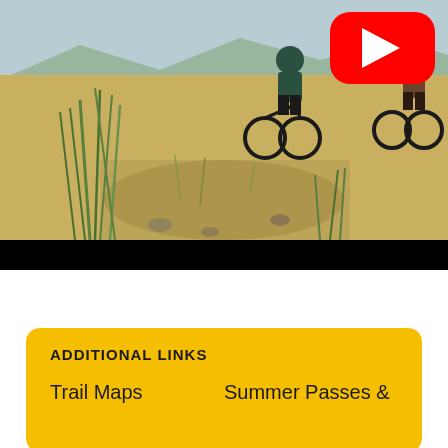[Figure (photo): Two mountain bikers riding on a dirt trail through dry grassland. A YouTube play button overlay appears in the top right corner. A 'Watch on YouTube' bar appears at the bottom left of the video frame.]
ADDITIONAL LINKS
Trail Maps
Summer Passes &